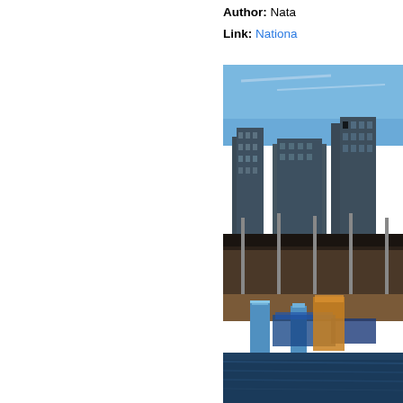Author: Nata
Link: Nationa
[Figure (photo): Urban waterfront scene with modern high-rise apartment buildings in the background, a covered pier or dock structure in the middle ground, and a marina/waterway in the foreground with blue dock posts and blue covered boats. The sky is clear blue.]